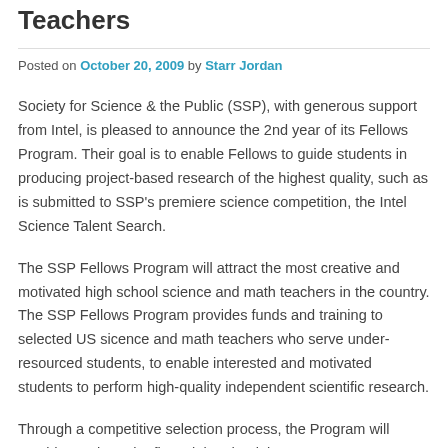Teachers
Posted on October 20, 2009 by Starr Jordan
Society for Science & the Public (SSP), with generous support from Intel, is pleased to announce the 2nd year of its Fellows Program. Their goal is to enable Fellows to guide students in producing project-based research of the highest quality, such as is submitted to SSP's premiere science competition, the Intel Science Talent Search.
The SSP Fellows Program will attract the most creative and motivated high school science and math teachers in the country. The SSP Fellows Program provides funds and training to selected US sicence and math teachers who serve under-resourced students, to enable interested and motivated students to perform high-quality independent scientific research.
Through a competitive selection process, the Program will provide teachers the financial and training resources necesary